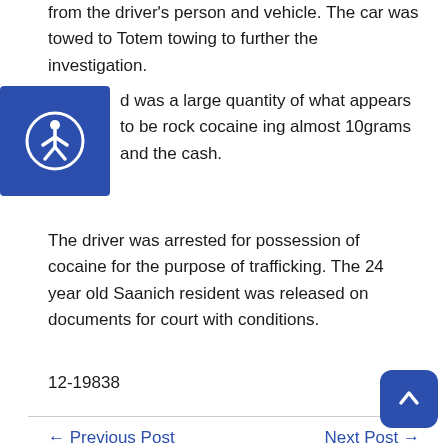from the driver's person and vehicle. The car was towed to Totem towing to further the investigation.
[Figure (logo): Blue accessibility icon with a person figure in a circle]
d was a large quantity of what appears to be rock cocaine ing almost 10grams and the cash.
The driver was arrested for possession of cocaine for the purpose of trafficking. The 24 year old Saanich resident was released on documents for court with conditions.
12-19838
← Previous Post
Next Post →
Search News Releases